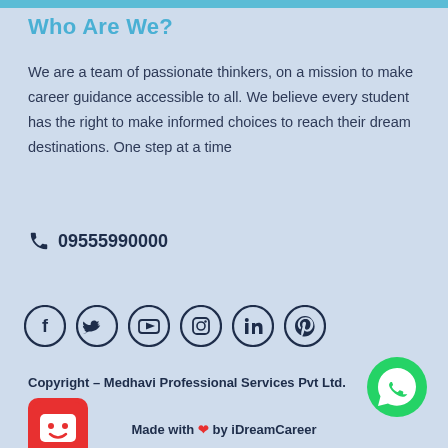Who Are We?
We are a team of passionate thinkers, on a mission to make career guidance accessible to all. We believe every student has the right to make informed choices to reach their dream destinations. One step at a time
📞 0955590000
[Figure (infographic): Row of 6 social media icons in dark navy circles: Facebook, Twitter, YouTube, Instagram, LinkedIn, Pinterest]
[Figure (illustration): Green WhatsApp button circle with WhatsApp logo]
Copyright – Medhavi Professional Services Pvt Ltd.
[Figure (illustration): Red chatbot/smiley face icon]
Made with ❤ by iDreamCareer